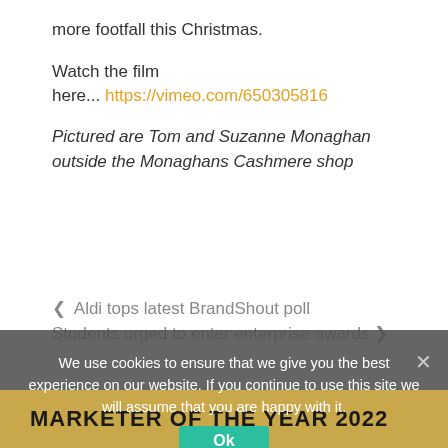more footfall this Christmas.
Watch the film here... https://vimeo.com/650305816
Pictured are Tom and Suzanne Monaghan outside the Monaghans Cashmere shop
< Aldi tops latest BrandShout poll
Students urged to enter enterprise awards >
We use cookies to ensure that we give you the best experience on our website. If you continue to use this site we will assume that you are happy with it.
Ok
MARKETER OF THE YEAR 2022